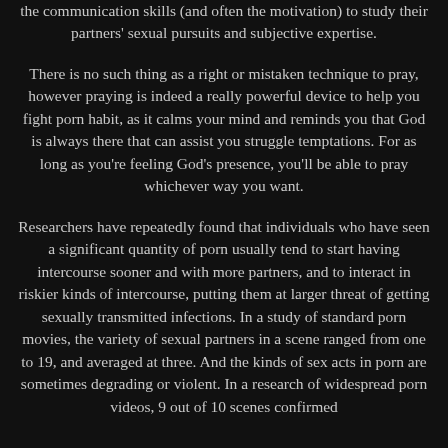the communication skills (and often the motivation) to study their partners' sexual pursuits and subjective expertise.
There is no such thing as a right or mistaken technique to pray, however praying is indeed a really powerful device to help you fight porn habit, as it calms your mind and reminds you that God is always there that can assist you struggle temptations. For as long as you're feeling God's presence, you'll be able to pray whichever way you want.
Researchers have repeatedly found that individuals who have seen a significant quantity of porn usually tend to start having intercourse sooner and with more partners, and to interact in riskier kinds of intercourse, putting them at larger threat of getting sexually transmitted infections. In a study of standard porn movies, the variety of sexual partners in a scene ranged from one to 19, and averaged at three. And the kinds of sex acts in porn are sometimes degrading or violent. In a research of widespread porn videos, 9 out of 10 scenes confirmed